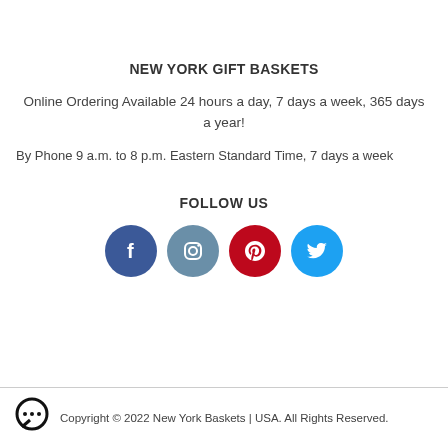NEW YORK GIFT BASKETS
Online Ordering Available 24 hours a day, 7 days a week, 365 days a year!
By Phone 9 a.m. to 8 p.m. Eastern Standard Time, 7 days a week
FOLLOW US
[Figure (illustration): Four social media icons in circles: Facebook (dark blue), Instagram (steel blue), Pinterest (red), Twitter (light blue)]
Copyright © 2022 New York Baskets | USA. All Rights Reserved.